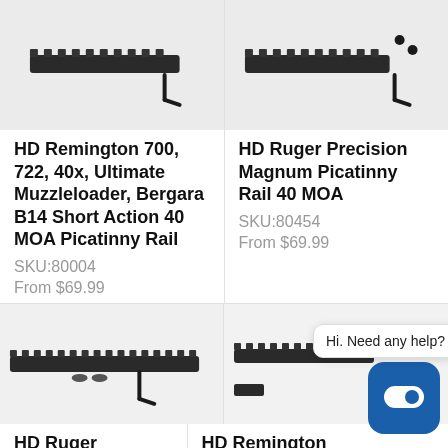[Figure (photo): Photo of HD Remington picatinny rail with allen wrench on gray background]
[Figure (photo): Photo of HD Ruger Precision Magnum picatinny rail with screws and allen wrench on gray background]
HD Remington 700, 722, 40x, Ultimate Muzzleloader, Bergara B14 Short Action 40 MOA Picatinny Rail
SKU:80004
From $69.99
HD Ruger Precision Magnum Picatinny Rail 40 MOA
SKU:80454
From $69.99
[Figure (photo): Photo of HD Ruger Precision Rifle picatinny rail with allen wrench on gray background]
[Figure (photo): Photo of HD Remington 700, 725 long action picatinny rail partially visible with chat widget overlay]
HD Ruger Precision Rifle (Centerfire) 40 MOA Picatinny Rail
HD Remington 700, 725, Bergara B14 Long Action 40 MOA Picatinny Rail